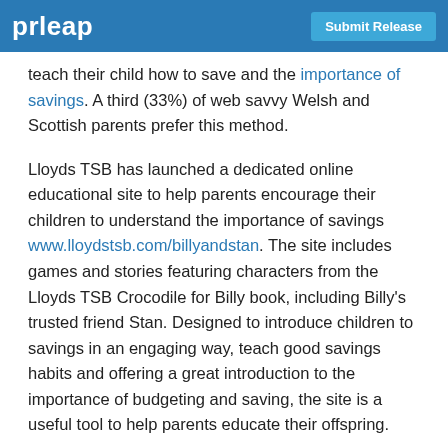prleap | Submit Release
teach their child how to save and the importance of savings. A third (33%) of web savvy Welsh and Scottish parents prefer this method.
Lloyds TSB has launched a dedicated online educational site to help parents encourage their children to understand the importance of savings www.lloydstsb.com/billyandstan. The site includes games and stories featuring characters from the Lloyds TSB Crocodile for Billy book, including Billy's trusted friend Stan. Designed to introduce children to savings in an engaging way, teach good savings habits and offering a great introduction to the importance of budgeting and saving, the site is a useful tool to help parents educate their offspring.